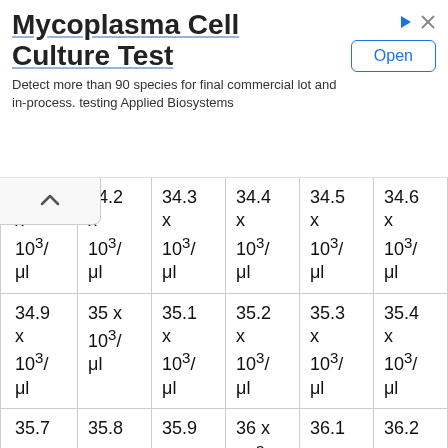[Figure (other): Advertisement banner for Mycoplasma Cell Culture Test by Applied Biosystems with Open button]
| 34.1 x 10³/μl | 34.2 x 10³/μl | 34.3 x 10³/μl | 34.4 x 10³/μl | 34.5 x 10³/μl | 34.6 x 10³/μl |
| 34.9 x 10³/μl | 35 x 10³/μl | 35.1 x 10³/μl | 35.2 x 10³/μl | 35.3 x 10³/μl | 35.4 x 10³/μl |
| 35.7 x 10³/μl | 35.8 x 10³/μl | 35.9 x 10³/μl | 36 x 10³/μl | 36.1 x 10³/μl | 36.2 x 10³/μl |